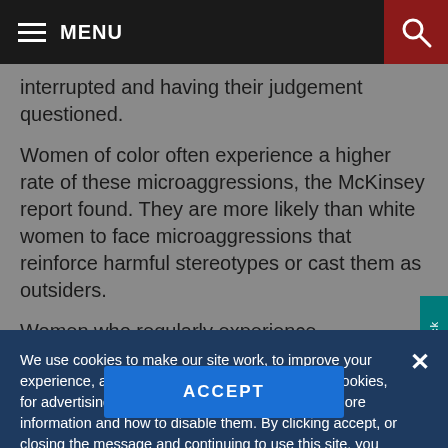MENU
interrupted and having their judgement questioned.
Women of color often experience a higher rate of these microaggressions, the McKinsey report found. They are more likely than white women to face microaggressions that reinforce harmful stereotypes or cast them as outsiders.
Women who regularly experience microaggressions
We use cookies to make our site work, to improve your experience, and we use our own, and third-party cookies, for advertising. Please see our Cookie Policy for more information and how to disable them. By clicking accept, or closing the message and continuing to use this site, you agree to our use of cookies.
ACCEPT